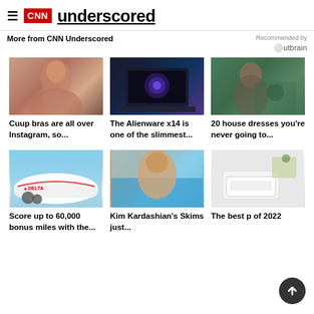CNN underscored
More from CNN Underscored
Recommended by Outbrain
[Figure (photo): Person posing]
Cuup bras are all over Instagram, so...
[Figure (photo): Alienware x14 laptop]
The Alienware x14 is one of the slimmest...
[Figure (photo): Person with plants]
20 house dresses you're never going to...
[Figure (photo): Delta airplane]
Score up to 60,000 bonus miles with the...
[Figure (photo): Kim Kardashian Skims]
Kim Kardashian's Skims just...
[Figure (photo): Printer on desk]
The best p of 2022